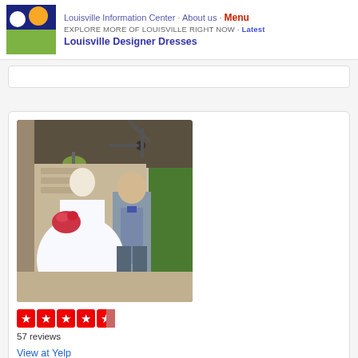Louisville Information Center · About us · Menu
EXPLORE MORE OF LOUISVILLE RIGHT NOW · Latest
Louisville Designer Dresses
[Figure (photo): A bride in a white ball gown and groom in grey suit walking together on an outdoor patio corridor with hanging plants and ceiling fans]
57 reviews
View at Yelp